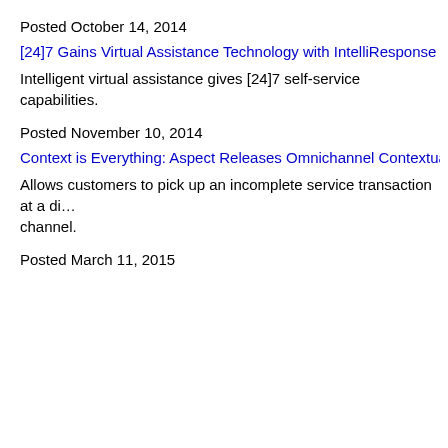Posted October 14, 2014
[24]7 Gains Virtual Assistance Technology with IntelliResponse A…
Intelligent virtual assistance gives [24]7 self-service capabilities.
Posted November 10, 2014
Context is Everything: Aspect Releases Omnichannel Contextua…
Allows customers to pick up an incomplete service transaction at a different channel.
Posted March 11, 2015